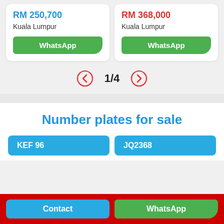RM 250,700
Kuala Lumpur
WhatsApp
RM 368,000
Kuala Lumpur
WhatsApp
1/4
Number plates for sale
KEF 96
JQ2368
Contact
WhatsApp